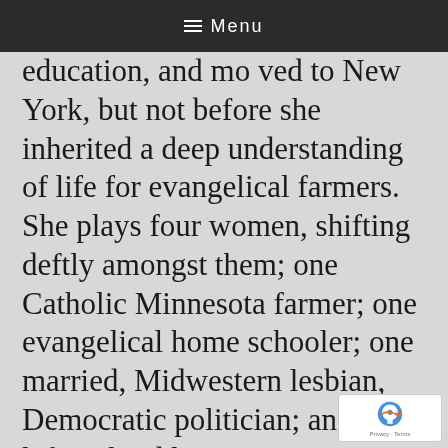≡ Menu
education, and moved to New York, but not before she inherited a deep understanding of life for evangelical farmers. She plays four women, shifting deftly amongst them; one Catholic Minnesota farmer; one evangelical home schooler; one married, Midwestern lesbian, Democratic politician; and one leftist, loud late-teenager. As becomes clear during the performance, she has a profound understanding of all of these characters and therefore of life itself.